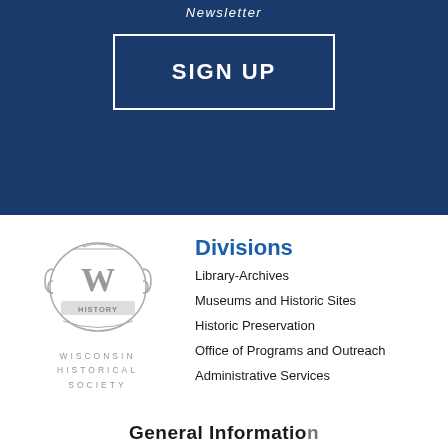Newsletter
SIGN UP
[Figure (logo): Wisconsin Historical Society logo — circular emblem with W and HISTORY text, below which reads WISCONSIN HISTORICAL SOCIETY in spaced letters]
Divisions
Library-Archives
Museums and Historic Sites
Historic Preservation
Office of Programs and Outreach
Administrative Services
General Information